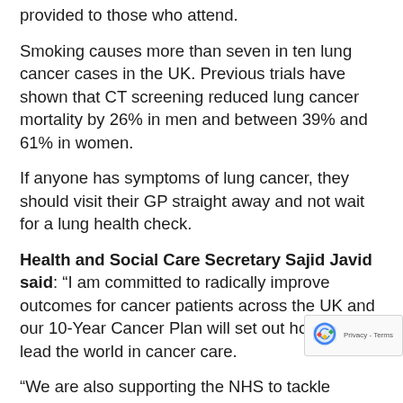provided to those who attend.
Smoking causes more than seven in ten lung cancer cases in the UK. Previous trials have shown that CT screening reduced lung cancer mortality by 26% in men and between 39% and 61% in women.
If anyone has symptoms of lung cancer, they should visit their GP straight away and not wait for a lung health check.
Health and Social Care Secretary Sajid Javid said: “I am committed to radically improve outcomes for cancer patients across the UK and our 10-Year Cancer Plan will set out how we will lead the world in cancer care.
“We are also supporting the NHS to tackle backlog with innovations such as community diagnostic centres which are delivering millions